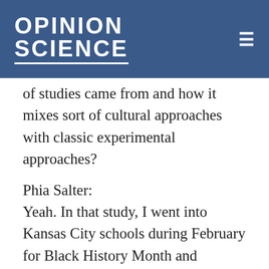OPINION SCIENCE
of studies came from and how it mixes sort of cultural approaches with classic experimental approaches?
Phia Salter:
Yeah. In that study, I went into Kansas City schools during February for Black History Month and essentially talked to folks and took pictures of their Black History Month displays. Kansas City, at least at that time, like many American cities, are highly racially segregated. And so the schools in those communities are highly racially segregated. And so, what I